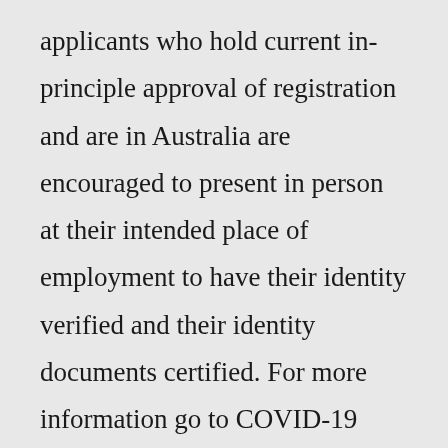applicants who hold current in-principle approval of registration and are in Australia are encouraged to present in person at their intended place of employment to have their identity verified and their identity documents certified. For more information go to COVID-19 updates. Feb 03, 2022 · Presenting in person In-principle approval may be granted if you have applied from overseas and can only provide the minimum